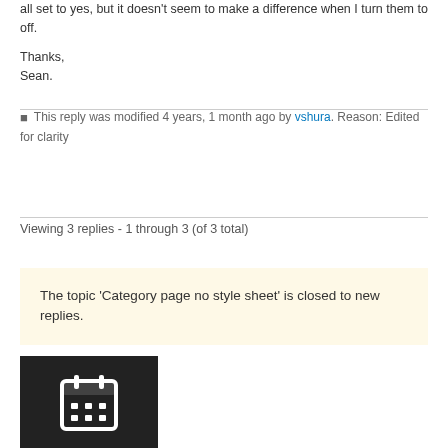all set to yes, but it doesn't seem to make a difference when I turn them to off.
Thanks,
Sean.
This reply was modified 4 years, 1 month ago by vshura. Reason: Edited for clarity
Viewing 3 replies - 1 through 3 (of 3 total)
The topic 'Category page no style sheet' is closed to new replies.
[Figure (illustration): Dark background block with a white calendar icon]